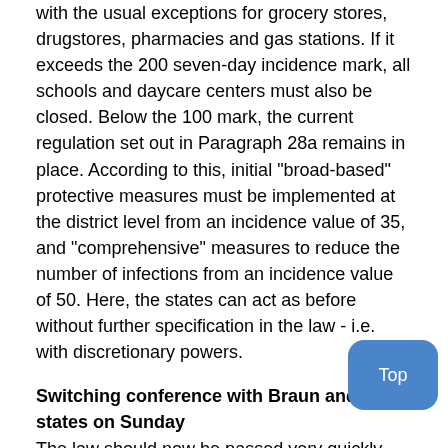with the usual exceptions for grocery stores, drugstores, pharmacies and gas stations. If it exceeds the 200 seven-day incidence mark, all schools and daycare centers must also be closed. Below the 100 mark, the current regulation set out in Paragraph 28a remains in place. According to this, initial "broad-based" protective measures must be implemented at the district level from an incidence value of 35, and "comprehensive" measures to reduce the number of infections from an incidence value of 50. Here, the states can act as before without further specification in the law - i.e. with discretionary powers.
Switching conference with Braun and the states on Sunday
The law should now be passed very quickly. But even an expedited procedure takes time. According to information from the Tagesspiegel, the plan is for the Federal Government and the Bundestag to begin the legislative process next week, so that it can be completed the following week. It would then be the Bundesrat's turn shortly thereafter. The aim is apparently for the law to be published in the Federal Law Gazette on April 19, or on April 26 at the latest.
The plan is justified not least by the fact that after the "Easter peace" debacle a signal of good federal-state cooperation to send outward. That's how Scholz put it on Friday, pointing out